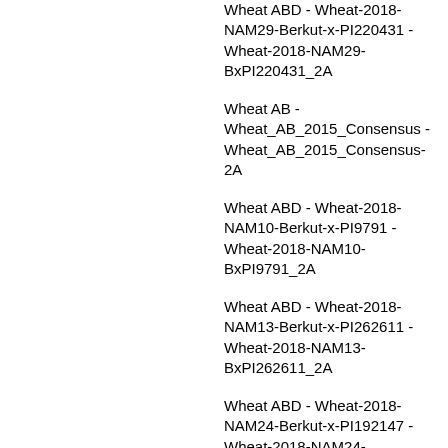Wheat ABD - Wheat-2018-NAM29-Berkut-x-PI220431 - Wheat-2018-NAM29-BxPI220431_2A
Wheat AB - Wheat_AB_2015_Consensus - Wheat_AB_2015_Consensus-2A
Wheat ABD - Wheat-2018-NAM10-Berkut-x-PI9791 - Wheat-2018-NAM10-BxPI9791_2A
Wheat ABD - Wheat-2018-NAM13-Berkut-x-PI262611 - Wheat-2018-NAM13-BxPI262611_2A
Wheat ABD - Wheat-2018-NAM24-Berkut-x-PI192147 - Wheat-2018-NAM24-BxPI192147_2A
Wheat ABD - Wheat, Yr Update, 2021 - Wheat_Yr_2021-2A
Wheat ABD - Wheat-2018-NAM27-Berkut-x-PI192569 - Wheat-2018-NAM27-BxPI192569_2A
Wheat AB - Wheat_AB_2015_Consensus - Wheat_AB_2015_Consensus-2A
Wheat ABD - Wheat-2018-NAM24-